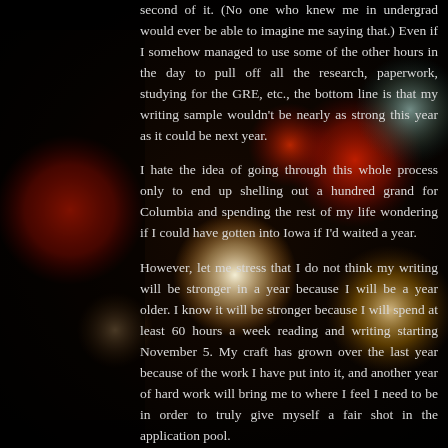[Figure (photo): Dark bokeh background photo with blurred red, white, and orange light circles against a black background]
second of it. (No one who knew me in undergrad would ever be able to imagine me saying that.) Even if I somehow managed to use some of the other hours in the day to pull off all the research, paperwork, studying for the GRE, etc., the bottom line is that my writing sample wouldn't be nearly as strong this year as it could be next year.

I hate the idea of going through this whole process only to end up shelling out a hundred grand for Columbia and spending the rest of my life wondering if I could have gotten into Iowa if I'd waited a year.

However, let me stress that I do not think my writing will be stronger in a year because I will be a year older. I know it will be stronger because I will spend at least 60 hours a week reading and writing starting November 5. My craft has grown over the last year because of the work I have put into it, and another year of hard work will bring me to where I feel I need to be in order to truly give myself a fair shot in the application pool.

I intend to begin my MFA when I am 25. If getting into a